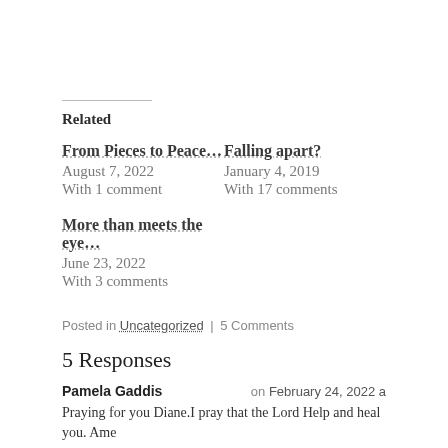Related
From Pieces to Peace...
August 7, 2022
With 1 comment
Falling apart?
January 4, 2019
With 17 comments
More than meets the eye...
June 23, 2022
With 3 comments
Posted in Uncategorized | 5 Comments
5 Responses
Pamela Gaddis   on February 24, 2022 a
Praying for you Diane.I pray that the Lord Help and heal you. Ame
Like